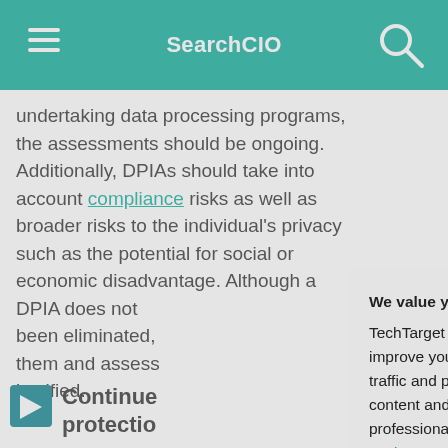SearchCIO
undertaking data processing programs, the assessments should be ongoing. Additionally, DPIAs should take into account compliance risks as well as broader risks to the individual’s privacy such as the potential for social or economic disadvantage. Although a DPIA does not [partially obscured] been eliminated, [partially obscured] them and assess [partially obscured] justified.
This was last updated in [partially obscured]
Continue [reading about data protection]
We value your privacy.
TechTarget and its partners employ cookies to improve your experience on our site, to analyze traffic and performance, and to serve personalized content and advertising that are relevant to your professional interests. You can manage your settings at any time. Please view our Privacy Policy for more information